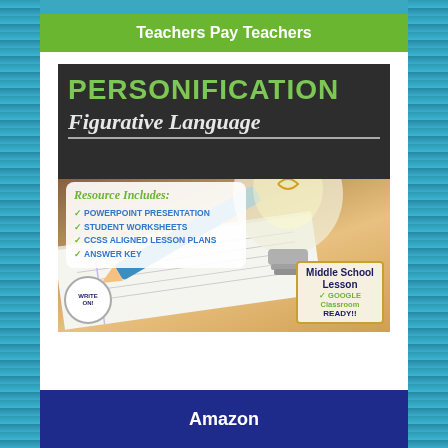Teachers Pay Teachers
[Figure (illustration): Educational product cover for Personification Figurative Language resource. Dark chalkboard background with green text 'PERSONIFICATION' and white italic text 'Figurative Language'. A resource box lists: PowerPoint Presentation, Student Worksheets, CCSS Aligned Lesson Plans, Answer Key. Background shows a lightbulb and pencil on a notebook. Bottom left has a 'Write On!' logo badge. Bottom right has a 'Middle School Lesson - GOOGLE Classroom READY!!' badge.]
Amazon